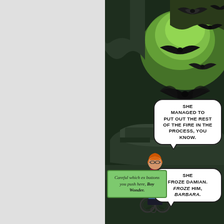[Figure (illustration): Comic book page panel showing a cave (Batcave) with bats flying against a green-lit background. A figure (Barbara Gordon/Oracle) sits in a wheelchair in the lower portion. Two speech bubbles read: 'SHE MANAGED TO PUT OUT THE REST OF THE FIRE IN THE PROCESS, YOU KNOW.' and 'SHE FROZE DAMIAN. FROZE HIM, BARBARA.' A green caption box reads: 'Careful which ex buttons you push here, Boy Wonder.']
SHE MANAGED TO PUT OUT THE REST OF THE FIRE IN THE PROCESS, YOU KNOW.
SHE FROZE DAMIAN. FROZE HIM, BARBARA.
Careful which ex buttons you push here, Boy Wonder.